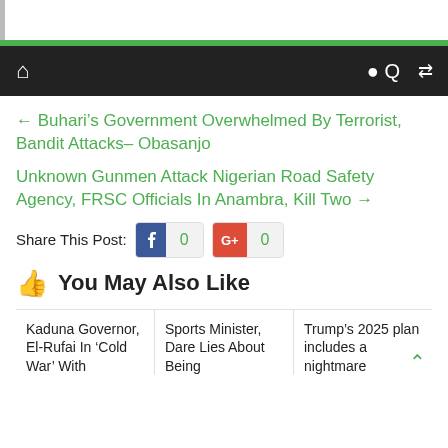Navigation bar with home, search, and shuffle icons
← Buhari's Government Overwhelmed By Terrorist, Bandit Attacks– Obasanjo
Unknown Gunmen Attack Nigerian Road Safety Agency, FRSC Officials In Anambra, Kill Two →
Share This Post: 0  0
You May Also Like
Kaduna Governor, El-Rufai In 'Cold War' With
Sports Minister, Dare Lies About Being
Trump's 2025 plan includes a nightmare